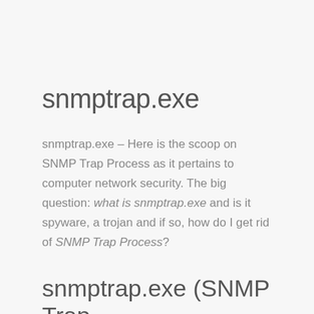snmptrap.exe
snmptrap.exe – Here is the scoop on SNMP Trap Process as it pertains to computer network security. The big question: what is snmptrap.exe and is it spyware, a trojan and if so, how do I get rid of SNMP Trap Process?
snmptrap.exe (SNMP Trap